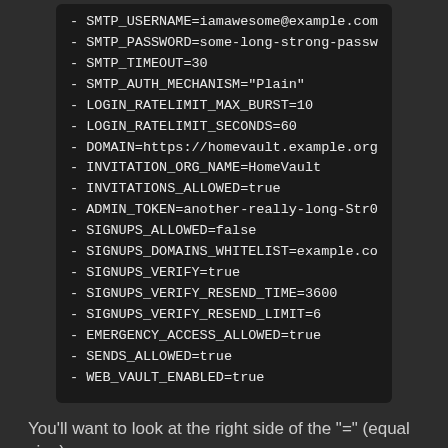[Figure (screenshot): Dark-themed code block showing Docker/environment variable configuration list items in monospace white text on black background]
You'll want to look at the right side of the "=" (equal sign)